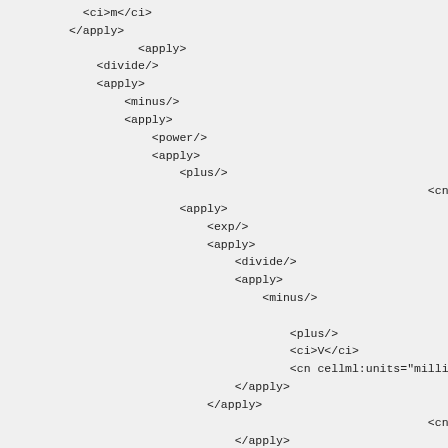XML/CellML code snippet showing mathematical markup with apply, divide, minus, power, plus, exp elements and cn/ci tags with cellml:units attributes